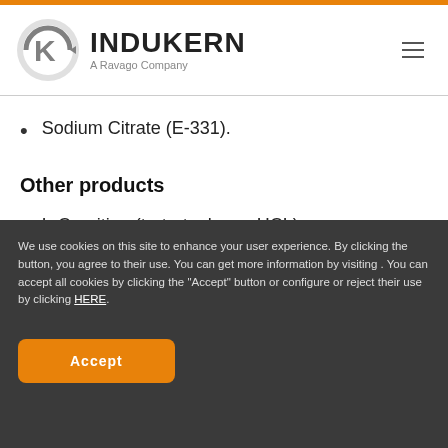INDUKERN A Ravago Company
Sodium Citrate (E-331).
Other products
L-Carnitine (tartrate, base, HCL).
We use cookies on this site to enhance your user experience. By clicking the button, you agree to their use. You can get more information by visiting . You can accept all cookies by clicking the "Accept" button or configure or reject their use by clicking HERE.
Accept